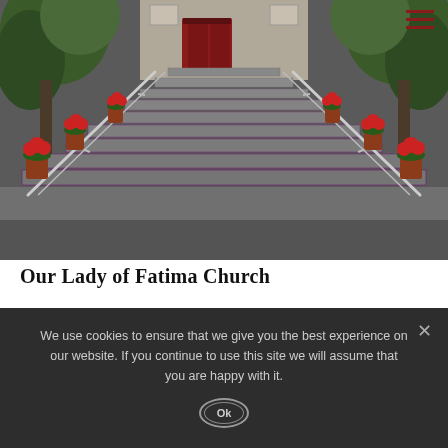[Figure (photo): Church entrance with wide stone stairs flanked by metal railings and red poinsettia flower pots, leading up to red double doors. Trees visible on both sides.]
Our Lady of Fatima Church
Our lady of Fatima Parish is located in a place where industrial blocks are merged with residential units.
We use cookies to ensure that we give you the best experience on our website. If you continue to use this site we will assume that you are happy with it.